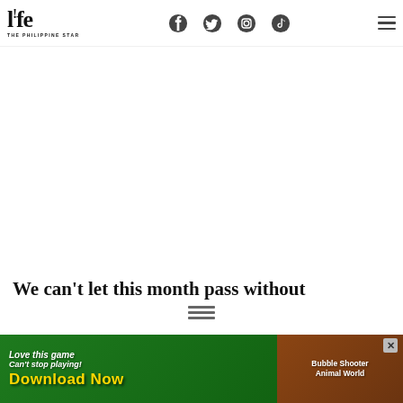life THE PHILIPPINE STAR
[Figure (screenshot): White advertisement space / blank area in the middle of the page]
We can’t let this month pass without
[Figure (infographic): Mobile game advertisement banner at bottom: Love this game Can't stop playing! Download Now - Bubble Shooter Animal World]